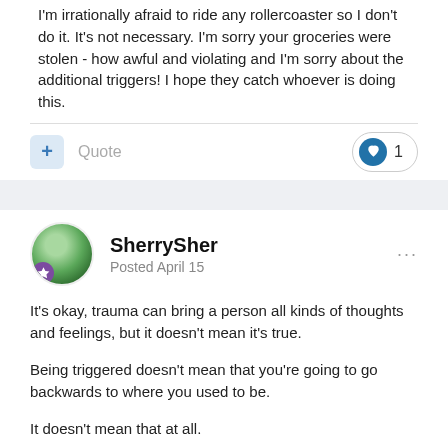I'm irrationally afraid to ride any rollercoaster so I don't do it.  It's not necessary.  I'm sorry your groceries were stolen - how awful and violating and I'm sorry about the additional triggers! I hope they catch whoever is doing this.
Quote   ♥ 1
SherrySher
Posted April 15
It's okay, trauma can bring a person all kinds of thoughts and feelings, but it doesn't mean it's true.

Being triggered doesn't mean that you're going to go backwards to where you used to be.

It doesn't mean that at all.

It's a memory, but you've come a long way from where you were.